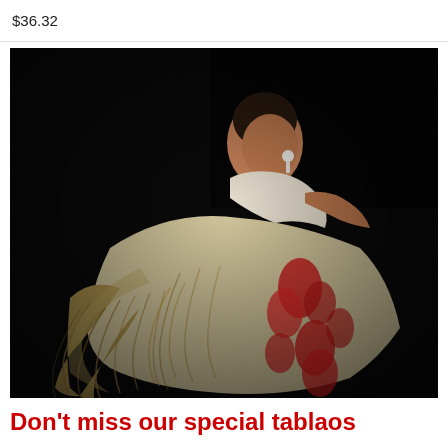$36.32
[Figure (photo): A flamenco dancer performing on a dark stage, wearing a white and floral patterned dress with fringe, captured in motion with the skirt swirling dramatically.]
Don't miss our special tablaos